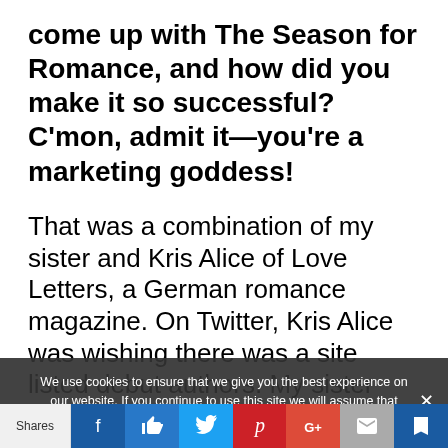come up with The Season for Romance, and how did you make it so successful? C'mon, admit it—you're a marketing goddess!
That was a combination of my sister and Kris Alice of Love Letters, a German romance magazine. On Twitter, Kris Alice was wishing there was a site listed debut authors. My sister suggested I do that. Since I didn't think it would
We use cookies to ensure that we give you the best experience on our website. If you continue to use this site we will assume that you are happy with it.